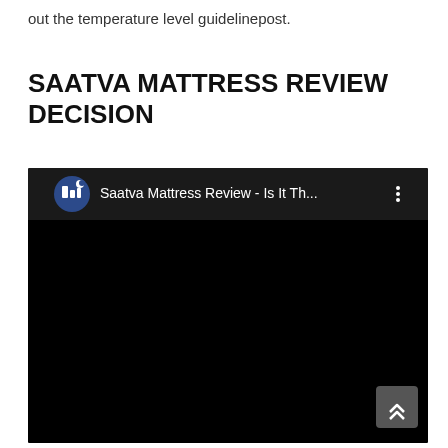out the temperature level guidelinepost.
SAATVA MATTRESS REVIEW DECISION
[Figure (screenshot): Embedded YouTube video player showing 'Saatva Mattress Review - Is It Th...' with channel icon (dark blue circle with building/moon silhouette), video title bar, three-dot menu icon, and black video content area. A scroll-to-top button appears in the bottom right corner.]